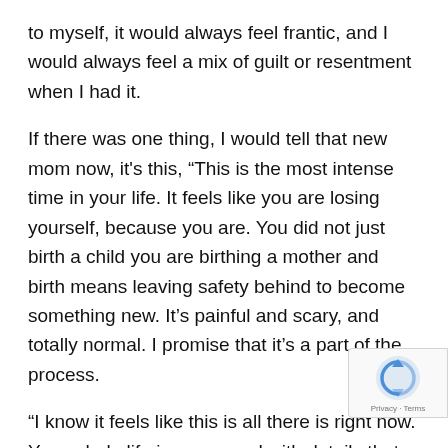to myself, it would always feel frantic, and I would always feel a mix of guilt or resentment when I had it.
If there was one thing, I would tell that new mom now, it's this, “This is the most intense time in your life. It feels like you are losing yourself, because you are. You did not just birth a child you are birthing a mother and birth means leaving safety behind to become something new. It’s painful and scary, and totally normal. I promise that it’s a part of the process.
“I know it feels like this is all there is right now. Your whole life is consumed with details that seem momentous and immediate. Be in that